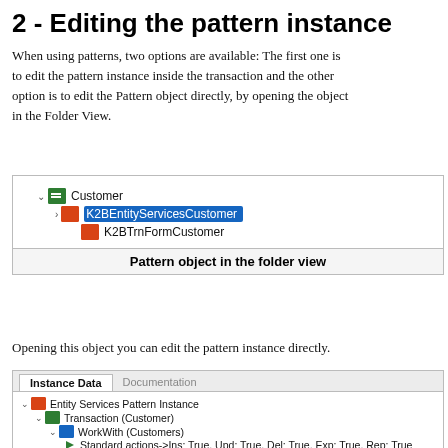2 - Editing the pattern instance
When using patterns, two options are available: The first one is to edit the pattern instance inside the transaction and the other option is to edit the Pattern object directly, by opening the object in the Folder View.
[Figure (screenshot): Folder view tree showing Customer node expanded with K2BEntityServicesCustomer (selected, highlighted in blue) and K2BTrnFormCustomer items, with caption 'Pattern object in the folder view']
Opening this object you can edit the pattern instance directly.
[Figure (screenshot): Instance Data panel showing Entity Services Pattern Instance tree with Transaction (Customer) > WorkWith (Customers) > Standard actions->Ins: True, Upd: True, Del: True, Exp: True, Rep: True, and Grid Columns]